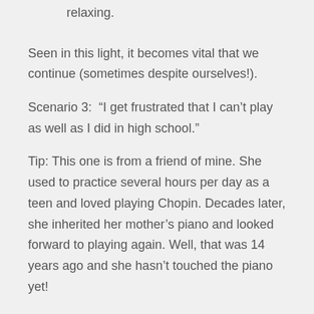relaxing.
Seen in this light, it becomes vital that we continue (sometimes despite ourselves!).
Scenario 3:  “I get frustrated that I can’t play as well as I did in high school.”
Tip: This one is from a friend of mine. She used to practice several hours per day as a teen and loved playing Chopin. Decades later, she inherited her mother’s piano and looked forward to playing again. Well, that was 14 years ago and she hasn’t touched the piano yet!
My friend will only be able to re-experience